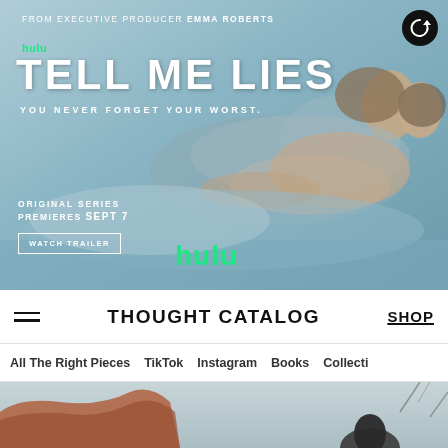[Figure (photo): Hulu advertisement banner for 'Tell Me Lies' original series. Background is a muted blue-grey scene showing two people lying down intimately. Text overlay includes 'FROM EXECUTIVE PRODUCER EMMA ROBERTS', 'hulu', 'TELL ME LIES', 'YOU NEVER FORGET YOUR WORST.', 'ORIGINAL SERIES', 'PREMIERES SEPT 7', 'WATCH TRAILER' button, and Hulu logo. Replay button in top right corner.]
THOUGHT CATALOG
All The Right Pieces  TikTok  Instagram  Books  Collecti
[Figure (photo): Outdoor landscape photo showing a person from behind looking at rocky terrain / mountains under an overcast sky. Bottom portion of the page.]